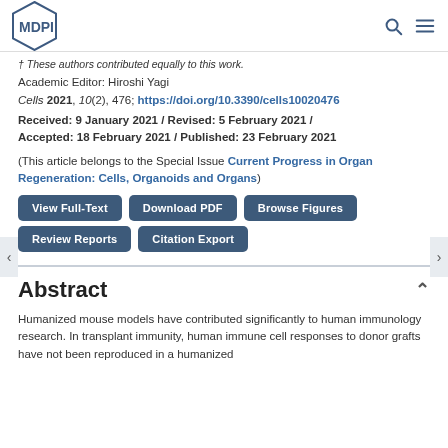MDPI
† These authors contributed equally to this work.
Academic Editor: Hiroshi Yagi
Cells 2021, 10(2), 476; https://doi.org/10.3390/cells10020476
Received: 9 January 2021 / Revised: 5 February 2021 / Accepted: 18 February 2021 / Published: 23 February 2021
(This article belongs to the Special Issue Current Progress in Organ Regeneration: Cells, Organoids and Organs)
Abstract
Humanized mouse models have contributed significantly to human immunology research. In transplant immunity, human immune cell responses to donor grafts have not been reproduced in a humanized